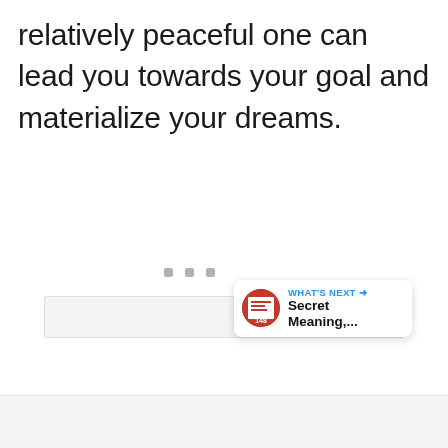relatively peaceful one can lead you towards your goal and materialize your dreams.
[Figure (other): Large light gray placeholder image area with three small gray square dots centered at the bottom portion, indicating a loading or empty image state. Social interaction buttons (like, count of 15, share) appear on the right side. A 'WHAT'S NEXT' card appears at the bottom right showing 'Secret Meaning,...']